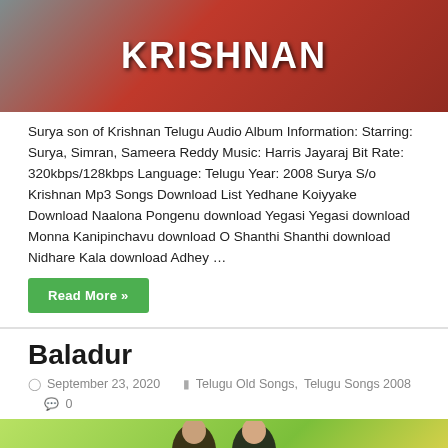[Figure (photo): Movie poster or album cover image showing 'KRISHNAN' text in white bold letters on red background with people]
Surya son of Krishnan Telugu Audio Album Information: Starring: Surya, Simran, Sameera Reddy Music: Harris Jayaraj Bit Rate: 320kbps/128kbps Language: Telugu Year: 2008 Surya S/o Krishnan Mp3 Songs Download List Yedhane Koiyyake Download Naalona Pongenu download Yegasi Yegasi download Monna Kanipinchavu download O Shanthi Shanthi download Nidhare Kala download Adhey …
Read More »
Baladur
September 23, 2020   Telugu Old Songs, Telugu Songs 2008   0
[Figure (photo): Movie poster showing two people against a green/yellow background for Baladur film]